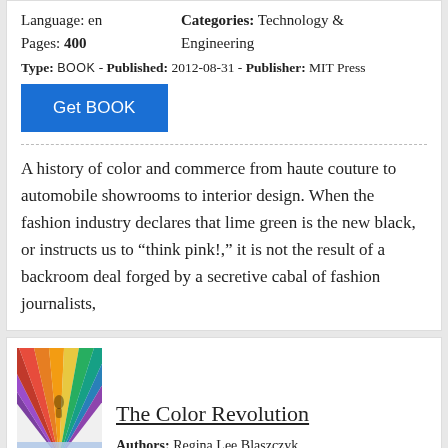Language: en   Categories: Technology & Engineering
Pages: 400
Type: BOOK - Published: 2012-08-31 - Publisher: MIT Press
Get BOOK
A history of color and commerce from haute couture to automobile showrooms to interior design. When the fashion industry declares that lime green is the new black, or instructs us to “think pink!,” it is not the result of a backroom deal forged by a secretive cabal of fashion journalists,
[Figure (illustration): Book cover image with colorful radial fan design in purple, red, orange, green, blue colors]
The Color Revolution
Authors: Regina Lee Blaszczyk
Language: en   Categories: Technology &